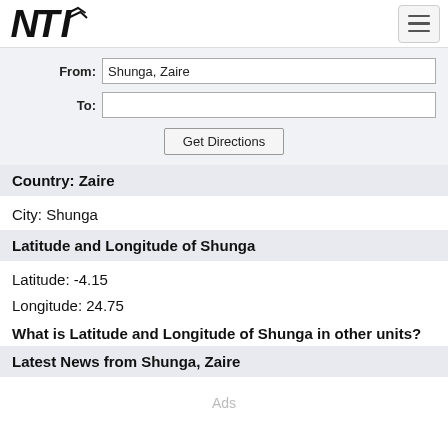NTI logo and navigation menu
From: Shunga, Zaire
To:
Get Directions
Country: Zaire
City: Shunga
Latitude and Longitude of Shunga
Latitude: -4.15
Longitude: 24.75
What is Latitude and Longitude of Shunga in other units?
Latest News from Shunga, Zaire
Ads